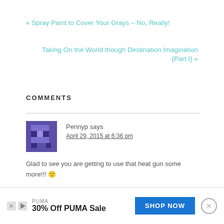« Spray Paint to Cover Your Grays – No, Really!
Taking On the World though Destination Imagination {Part I} »
COMMENTS
Pennyp says
April 29, 2015 at 6:36 pm
Glad to see you are getting to use that heat gun some more!!! 🙂
REPLY
PUMA
30% Off PUMA Sale
SHOP NOW